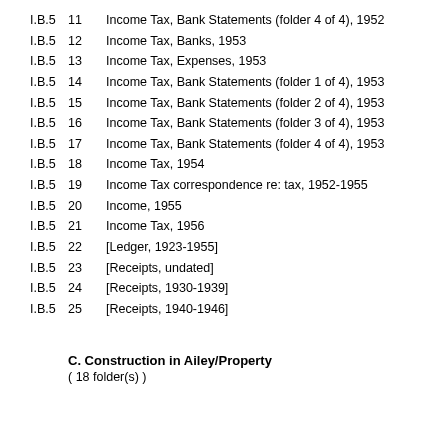I.B.5  11  Income Tax, Bank Statements (folder 4 of 4), 1952
I.B.5  12  Income Tax, Banks, 1953
I.B.5  13  Income Tax, Expenses, 1953
I.B.5  14  Income Tax, Bank Statements (folder 1 of 4), 1953
I.B.5  15  Income Tax, Bank Statements (folder 2 of 4), 1953
I.B.5  16  Income Tax, Bank Statements (folder 3 of 4), 1953
I.B.5  17  Income Tax, Bank Statements (folder 4 of 4), 1953
I.B.5  18  Income Tax, 1954
I.B.5  19  Income Tax correspondence re: tax, 1952-1955
I.B.5  20  Income, 1955
I.B.5  21  Income Tax, 1956
I.B.5  22  [Ledger, 1923-1955]
I.B.5  23  [Receipts, undated]
I.B.5  24  [Receipts, 1930-1939]
I.B.5  25  [Receipts, 1940-1946]
C. Construction in Ailey/Property
( 18 folder(s) )